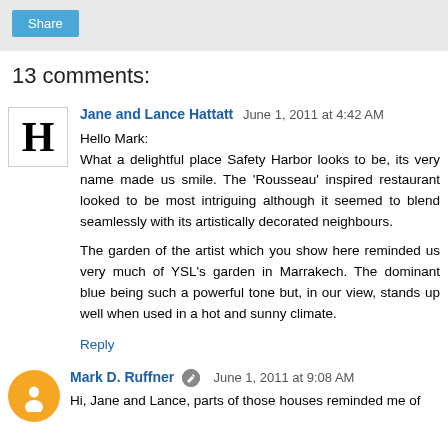Share
13 comments:
Jane and Lance Hattatt  June 1, 2011 at 4:42 AM
Hello Mark:
What a delightful place Safety Harbor looks to be, its very name made us smile. The 'Rousseau' inspired restaurant looked to be most intriguing although it seemed to blend seamlessly with its artistically decorated neighbours.

The garden of the artist which you show here reminded us very much of YSL's garden in Marrakech. The dominant blue being such a powerful tone but, in our view, stands up well when used in a hot and sunny climate.
Reply
Mark D. Ruffner  June 1, 2011 at 9:08 AM
Hi, Jane and Lance, parts of those houses reminded me of